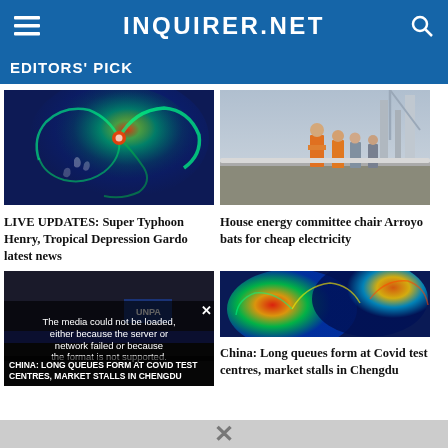INQUIRER.NET
EDITORS' PICK
[Figure (photo): Satellite image of Super Typhoon swirling over the Philippine archipelago]
LIVE UPDATES: Super Typhoon Henry, Tropical Depression Gardo latest news
[Figure (photo): Construction workers in orange safety vests walking along a railway track under a cloudy sky]
House energy committee chair Arroyo bats for cheap electricity
[Figure (photo): Video thumbnail showing news coverage with error overlay: The media could not be loaded, either because the server or network failed or because the format is not supported.]
CHINA: LONG QUEUES FORM AT COVID TEST CENTRES, MARKET STALLS IN CHENGDU
[Figure (photo): Colorful weather radar image showing typhoon spiral bands]
China: Long queues form at Covid test centres, market stalls in Chengdu